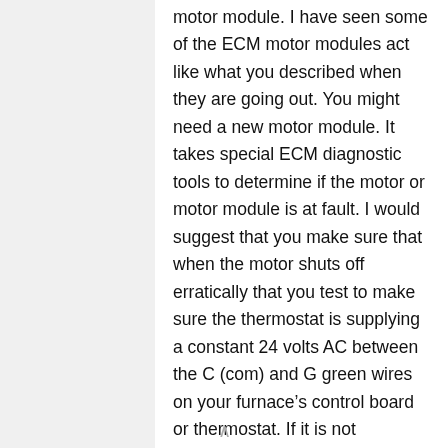motor module. I have seen some of the ECM motor modules act like what you described when they are going out. You might need a new motor module. It takes special ECM diagnostic tools to determine if the motor or motor module is at fault. I would suggest that you make sure that when the motor shuts off erratically that you test to make sure the thermostat is supplying a constant 24 volts AC between the C (com) and G green wires on your furnace's control board or thermostat. If it is not supplying a minimum of 24 volts then you either have a thermostat problem or a thermostat wire problem. Make sure all batteries and wire connections are